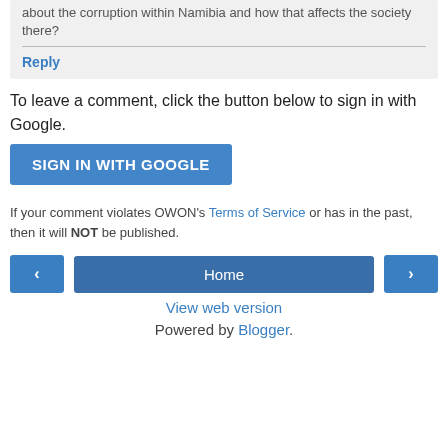about the corruption within Namibia and how that affects the society there?
Reply
To leave a comment, click the button below to sign in with Google.
SIGN IN WITH GOOGLE
If your comment violates OWON's Terms of Service or has in the past, then it will NOT be published.
Home
View web version
Powered by Blogger.